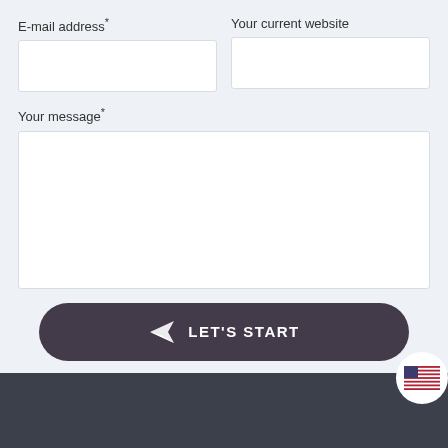E-mail address*
Your current website
Your message*
[Figure (other): Submit button with paper plane icon and text LET'S START on dark purple rounded rectangle background]
[Figure (other): Dark footer strip with US flag language selector bubble at bottom right]